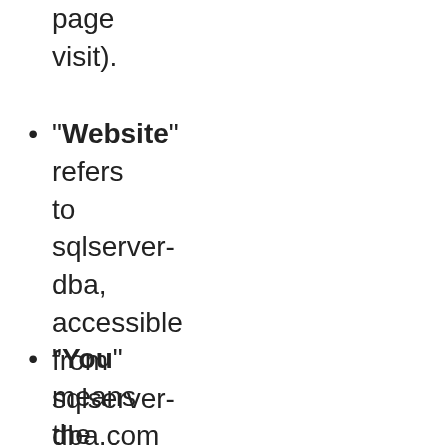page visit).
"Website" refers to sqlserver-dba, accessible from sqlserver-dba.com
"You" means the individual accessing or using the